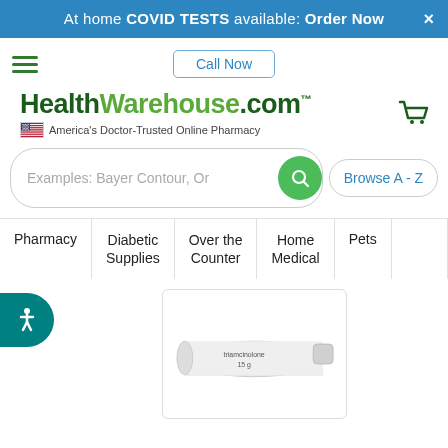At home COVID TESTS available: Order Now
Call Now
[Figure (logo): HealthWarehouse.com logo with tagline America's Doctor-Trusted Online Pharmacy]
[Figure (other): Search bar with placeholder text: Examples: Bayer Contour, Or... and Browse A - Z button]
Pharmacy
Diabetic Supplies
Over the Counter
Home Medical
Pets
[Figure (photo): Triamcinolone 15g tube product image]